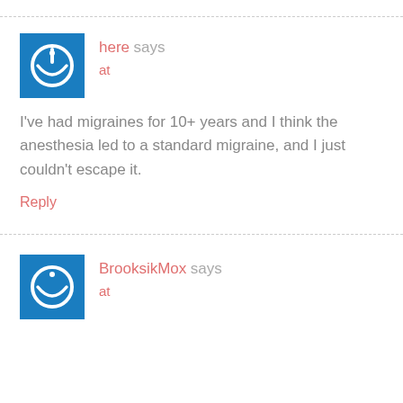here says
at
I've had migraines for 10+ years and I think the anesthesia led to a standard migraine, and I just couldn't escape it.
Reply
BrooksikMox says
at